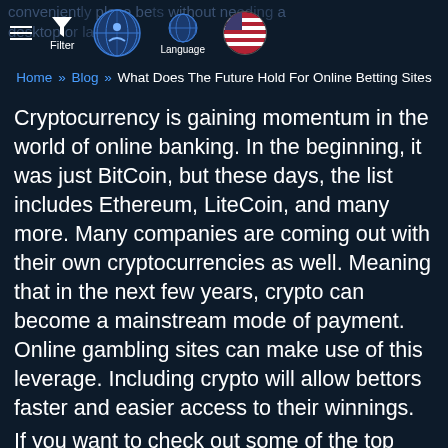convenient place bet without needing a desktop or laptop.
Home » Blog » What Does The Future Hold For Online Betting Sites
Cryptocurrency is gaining momentum in the world of online banking. In the beginning, it was just BitCoin, but these days, the list includes Ethereum, LiteCoin, and many more. Many companies are coming out with their own cryptocurrencies as well. Meaning that in the next few years, crypto can become a mainstream mode of payment. Online gambling sites can make use of this leverage. Including crypto will allow bettors faster and easier access to their winnings.
If you want to check out some of the top gambling sites, we offer an extensive list at